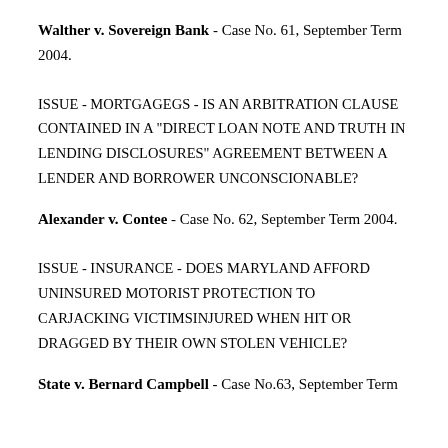Walther v. Sovereign Bank - Case No. 61, September Term 2004.
ISSUE - MORTGAGEGS - IS AN ARBITRATION CLAUSE CONTAINED IN A "DIRECT LOAN NOTE AND TRUTH IN LENDING DISCLOSURES" AGREEMENT BETWEEN A LENDER AND BORROWER UNCONSCIONABLE?
Alexander v. Contee - Case No. 62, September Term 2004.
ISSUE - INSURANCE - DOES MARYLAND AFFORD UNINSURED MOTORIST PROTECTION TO CARJACKING VICTIMSINJURED WHEN HIT OR DRAGGED BY THEIR OWN STOLEN VEHICLE?
State v. Bernard Campbell - Case No.63, September Term